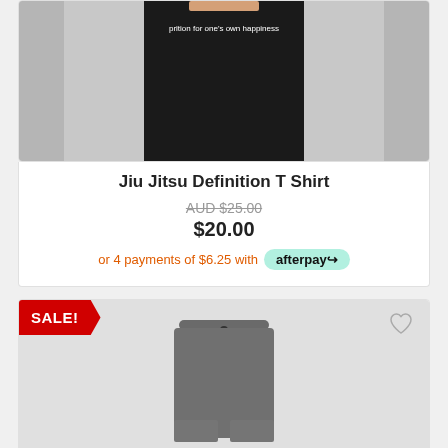[Figure (photo): Black t-shirt product image, partially cropped at top, with text on the shirt]
Jiu Jitsu Definition T Shirt
AUD $25.00 (strikethrough original price)
$20.00
or 4 payments of $6.25 with afterpay
[Figure (photo): Grey shorts/skirt product image with SALE! badge in red, heart/wishlist icon in top right]
SALE!